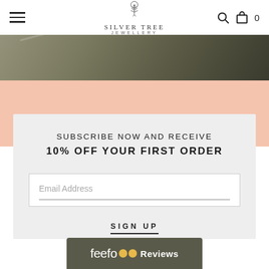Silver Tree Jewellery — navigation header with hamburger menu, logo, search and bag icons
[Figure (photo): Partial hero product image showing jewellery on a dark olive/grey background with peach/salmon colour below]
SUBSCRIBE NOW AND RECEIVE
10% OFF YOUR FIRST ORDER
Email Address
SIGN UP
[Figure (logo): Feefo Reviews badge with dark grey background, yellow eyes logo and white text reading 'feefo Reviews']